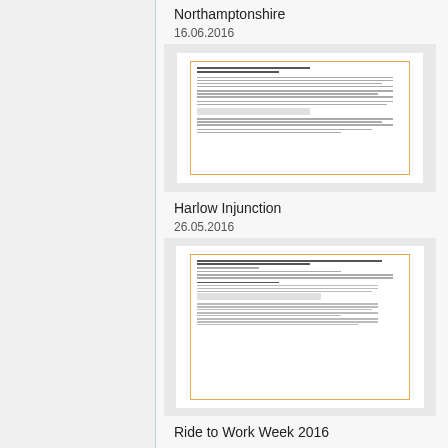Northamptonshire
16.06.2016
[Figure (screenshot): Thumbnail of a legal document with orange border, showing dense text and signature area]
Harlow Injunction
26.05.2016
[Figure (screenshot): Thumbnail of a legal injunction document with orange border, showing text, bullet points and signature area]
Ride to Work Week 2016